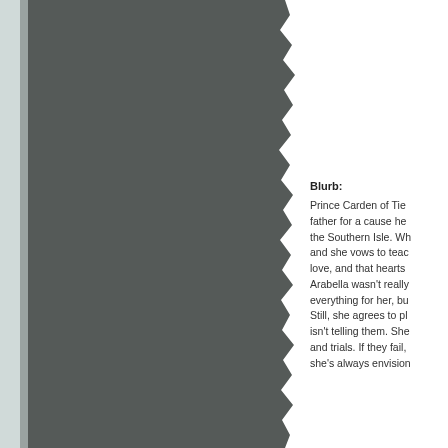[Figure (illustration): Dark gray torn paper or book cover image occupying the left side of the page, with a rough torn edge on the right side creating a ragged border against the white background.]
Blurb:
Prince Carden of Tie... father for a cause he... the Southern Isle. Wh... and she vows to teac... love, and that hearts ... Arabella wasn't really... everything for her, bu... Still, she agrees to pl... isn't telling them. She... and trials. If they fail,... she's always envision...